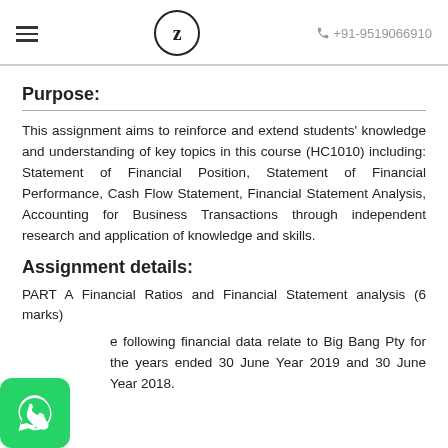≡  Z  +91-9519066910
Purpose:
This assignment aims to reinforce and extend students' knowledge and understanding of key topics in this course (HC1010) including: Statement of Financial Position, Statement of Financial Performance, Cash Flow Statement, Financial Statement Analysis, Accounting for Business Transactions through independent research and application of knowledge and skills.
Assignment details:
PART A Financial Ratios and Financial Statement analysis (6 marks)
The following financial data relate to Big Bang Pty for the years ended 30 June Year 2019 and 30 June Year 2018.